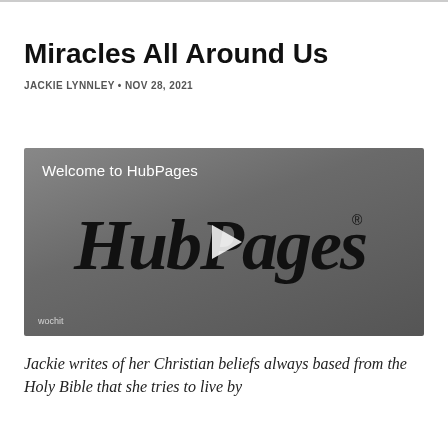Miracles All Around Us
JACKIE LYNNLEY • NOV 28, 2021
[Figure (screenshot): HubPages video thumbnail with 'Welcome to HubPages' text, HubPages logo in dark script with play button overlay, and 'wochit' watermark in lower left corner.]
Jackie writes of her Christian beliefs always based from the Holy Bible that she tries to live by